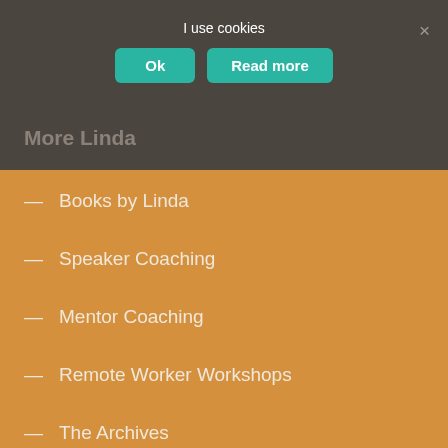I use cookies
Ok   Read more
More Linda
— Books by Linda
— Speaker Coaching
— Mentor Coaching
— Remote Worker Workshops
— The Archives
— HOW TO COMMUNICATE
— HOW TO WORK – ANYWHERE
presentation lesson: mindset
How to Ace that Virtual Interview